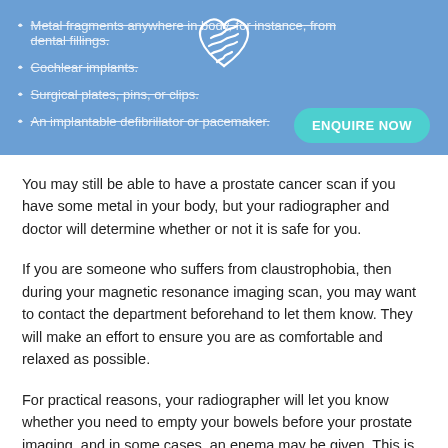[Figure (logo): White heart-shaped logo with wave lines on blue banner background]
Metal fragments anywhere in body, for instance, from dental fillings.
Cochlear implants.
Surgical plates, pins, or clips.
An implantable defibrillator or pacemaker.
You may still be able to have a prostate cancer scan if you have some metal in your body, but your radiographer and doctor will determine whether or not it is safe for you.
If you are someone who suffers from claustrophobia, then during your magnetic resonance imaging scan, you may want to contact the department beforehand to let them know. They will make an effort to ensure you are as comfortable and relaxed as possible.
For practical reasons, your radiographer will let you know whether you need to empty your bowels before your prostate imaging, and in some cases, an enema may be given. This is a liquid filled bag that the nurse or doctor places into...